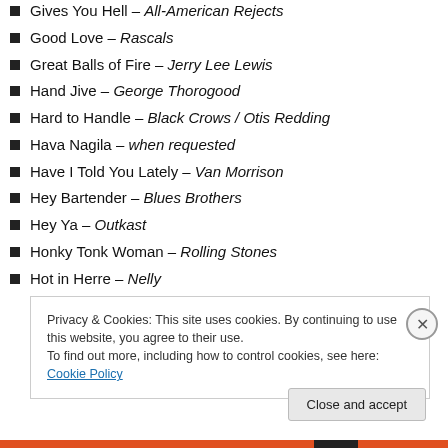Gives You Hell – All-American Rejects
Good Love – Rascals
Great Balls of Fire – Jerry Lee Lewis
Hand Jive – George Thorogood
Hard to Handle – Black Crows / Otis Redding
Hava Nagila – when requested
Have I Told You Lately – Van Morrison
Hey Bartender – Blues Brothers
Hey Ya – Outkast
Honky Tonk Woman – Rolling Stones
Hot in Herre – Nelly
Privacy & Cookies: This site uses cookies. By continuing to use this website, you agree to their use.
To find out more, including how to control cookies, see here: Cookie Policy
Close and accept